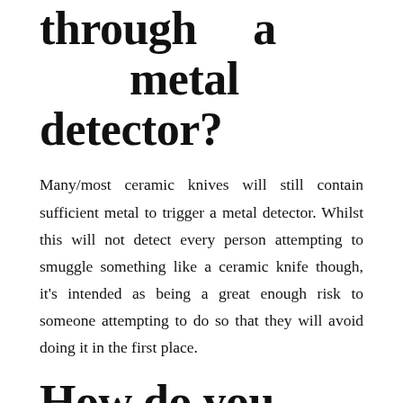through a metal detector?
Many/most ceramic knives will still contain sufficient metal to trigger a metal detector. Whilst this will not detect every person attempting to smuggle something like a ceramic knife though, it's intended as being a great enough risk to someone attempting to do so that they will avoid doing it in the first place.
How do you hide things from a metal detector?
Any shield , would be in itself inherently magnetic when placed in the field of a detector. The best option is to hide